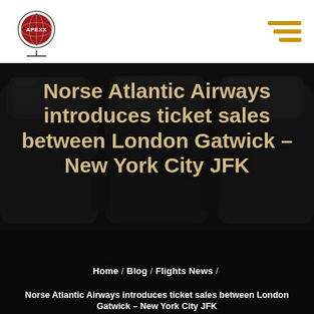[Figure (logo): APEXX globe logo — red circle with globe outline and 'APEXX' text]
[Figure (illustration): Hamburger menu icon with three golden horizontal bars]
[Figure (photo): Dark interior of an aircraft cabin showing leather business class seats with headrests]
Norse Atlantic Airways introduces ticket sales between London Gatwick – New York City JFK
Home / Blog / Flights News /
Norse Atlantic Airways introduces ticket sales between London Gatwick – New York City JFK